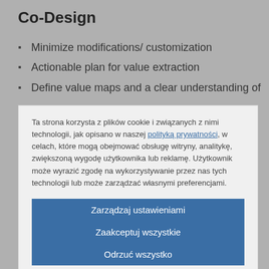Co-Design
Minimize modifications/ customization
Actionable plan for value extraction
Define value maps and a clear understanding of
Ta strona korzysta z plików cookie i związanych z nimi technologii, jak opisano w naszej polityką prywatności, w celach, które mogą obejmować obsługę witryny, analitykę, zwiększoną wygodę użytkownika lub reklamę. Użytkownik może wyrazić zgodę na wykorzystywanie przez nas tych technologii lub może zarządzać własnymi preferencjami.
Zarządzaj ustawieniami
Zaakceptuj wszystkie
Odrzuć wszystko
Oświadczenie dotyczące plików cookie